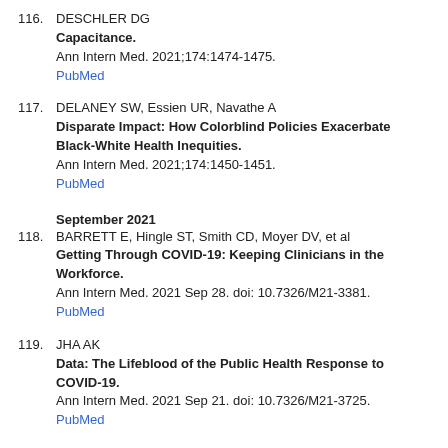116. DESCHLER DG
Capacitance.
Ann Intern Med. 2021;174:1474-1475.
PubMed
117. DELANEY SW, Essien UR, Navathe A
Disparate Impact: How Colorblind Policies Exacerbate Black-White Health Inequities.
Ann Intern Med. 2021;174:1450-1451.
PubMed
September 2021
118. BARRETT E, Hingle ST, Smith CD, Moyer DV, et al
Getting Through COVID-19: Keeping Clinicians in the Workforce.
Ann Intern Med. 2021 Sep 28. doi: 10.7326/M21-3381.
PubMed
119. JHA AK
Data: The Lifeblood of the Public Health Response to COVID-19.
Ann Intern Med. 2021 Sep 21. doi: 10.7326/M21-3725.
PubMed
120. REIF J, Heun-Johnson H, Tysinger B, Lakdawalla D, et al
Measuring the COVID-19 Mortality Burden in the United States : A Microsimulation Study.